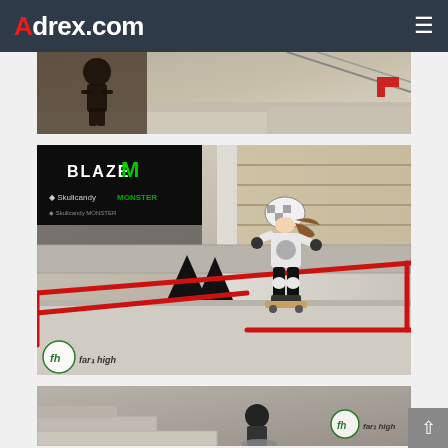Adrex.com
[Figure (photo): Partial overhead/aerial view of a skateboard park with a skater and ramps, indoor venue]
[Figure (photo): Young skater in helmet performing a trick on red rails at an indoor skate park with BLAZE and Monster Energy banners. Far1high watermark visible bottom left.]
[Figure (photo): Partial view of another skater trick at the same indoor skate park, Far1high watermark visible bottom right.]